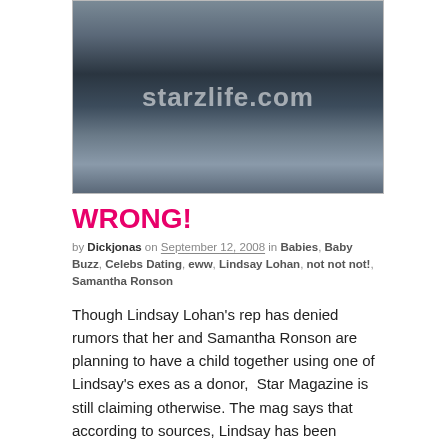[Figure (photo): A photo watermarked with 'starzlife.com' showing a person in jeans carrying a black bag near a car. The image is dark with blue-grey tones.]
WRONG!
by Dickjonas on September 12, 2008 in Babies, Baby Buzz, Celebs Dating, eww, Lindsay Lohan, not not not!, Samantha Ronson
Though Lindsay Lohan's rep has denied rumors that her and Samantha Ronson are planning to have a child together using one of Lindsay's exes as a donor,  Star Magazine is still claiming otherwise. The mag says that according to sources, Lindsay has been talking to Sam about feeling very maternal lately, and she's really serious